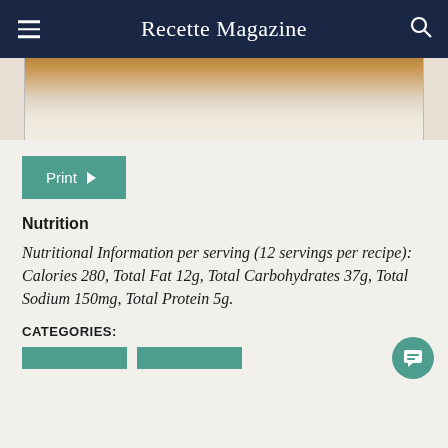Recette Magazine
[Figure (photo): Food photo showing a dessert or baked item with a cream/white filling and brown crust top, cropped so only the bottom portion of the food is visible against a light background]
Print
Nutrition
Nutritional Information per serving (12 servings per recipe): Calories 280, Total Fat 12g, Total Carbohydrates 37g, Total Sodium 150mg, Total Protein 5g.
CATEGORIES: